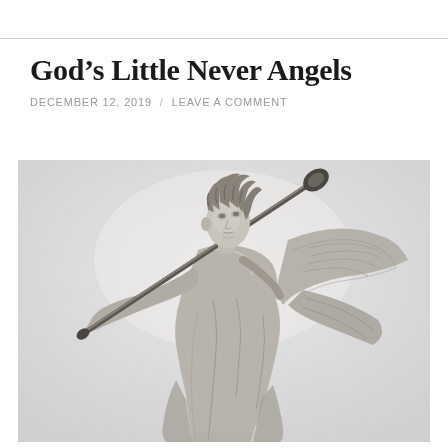God's Little Never Angels
DECEMBER 12, 2019  /  LEAVE A COMMENT
[Figure (photo): Black and white photograph of a stone angel statue holding a long staff or lance diagonally across its body, with large feathered wings visible behind it, against a light gray background.]